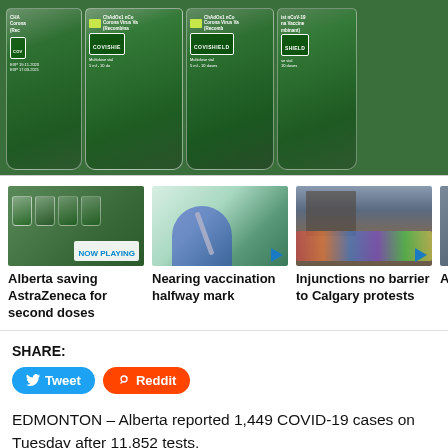[Figure (photo): Multiple green Covishield (AstraZeneca) COVID-19 vaccine vials lined up]
[Figure (photo): Thumbnail: AstraZeneca vaccine vials, NOW PLAYING label]
Alberta saving AstraZeneca for second doses
[Figure (photo): Thumbnail: gloved hand holding syringe with vaccine]
Nearing vaccination halfway mark
[Figure (photo): Thumbnail: crowd protest in Calgary]
Injunctions no barrier to Calgary protests
SHARE:
Tweet  Reddit
EDMONTON – Alberta reported 1,449 COVID-19 cases on Tuesday after 11,852 tests.
There are 24,998 active coronavirus cases across the